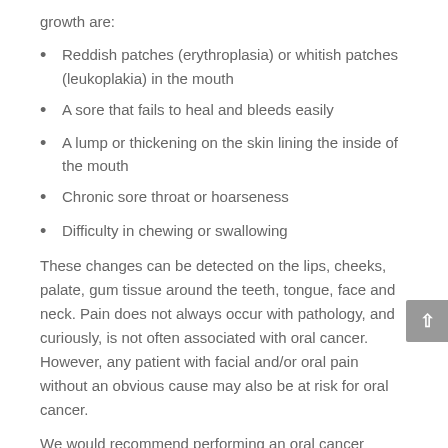growth are:
Reddish patches (erythroplasia) or whitish patches (leukoplakia) in the mouth
A sore that fails to heal and bleeds easily
A lump or thickening on the skin lining the inside of the mouth
Chronic sore throat or hoarseness
Difficulty in chewing or swallowing
These changes can be detected on the lips, cheeks, palate, gum tissue around the teeth, tongue, face and neck. Pain does not always occur with pathology, and curiously, is not often associated with oral cancer. However, any patient with facial and/or oral pain without an obvious cause may also be at risk for oral cancer.
We would recommend performing an oral cancer